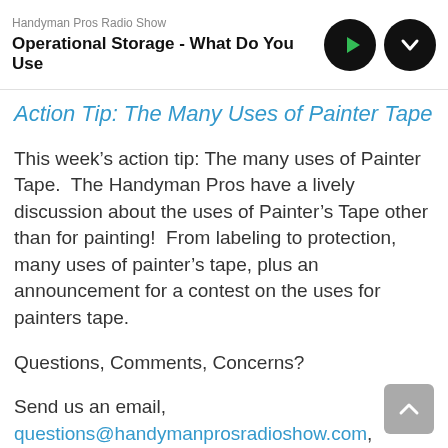Handyman Pros Radio Show
Operational Storage - What Do You Use
Action Tip: The Many Uses of Painter Tape
This week’s action tip: The many uses of Painter Tape.  The Handyman Pros have a lively discussion about the uses of Painter’s Tape other than for painting!  From labeling to protection, many uses of painter’s tape, plus an announcement for a contest on the uses for painters tape.
Questions, Comments, Concerns?
Send us an email, questions@handymanprosradioshow.com, follow us on twitter @handyman_radio, join